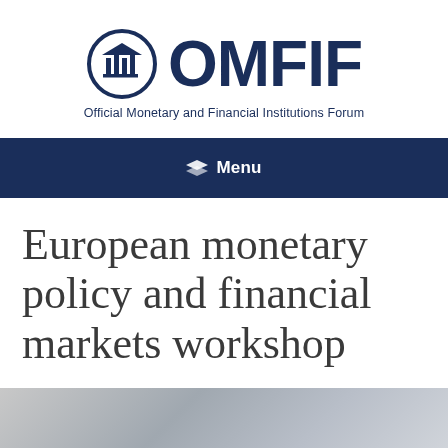[Figure (logo): OMFIF logo: circular emblem with pillared building icon followed by large bold text 'OMFIF']
Official Monetary and Financial Institutions Forum
Menu
European monetary policy and financial markets workshop
[Figure (photo): Partial photo strip at the bottom of the page, grayscale, showing part of a person or scene]